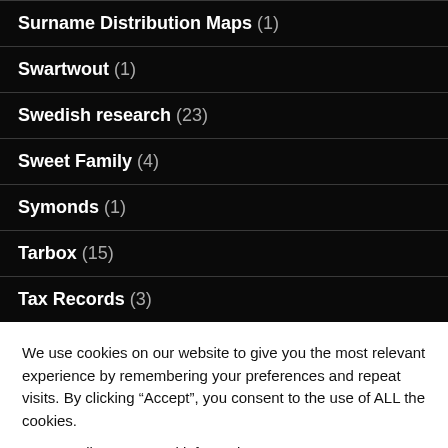Surname Distribution Maps (1)
Swartwout (1)
Swedish research (23)
Sweet Family (4)
Symonds (1)
Tarbox (15)
Tax Records (3)
We use cookies on our website to give you the most relevant experience by remembering your preferences and repeat visits. By clicking “Accept”, you consent to the use of ALL the cookies.
Do not sell my personal information.
Cookie settings ACCEPT